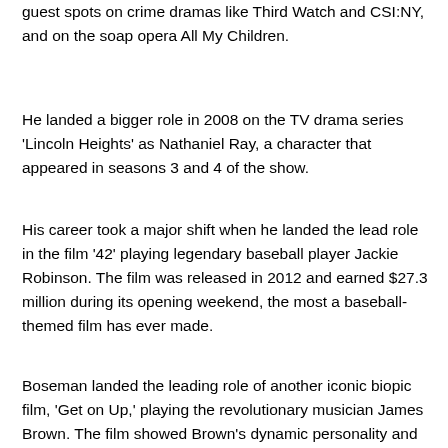guest spots on crime dramas like Third Watch and CSI:NY, and on the soap opera All My Children.
He landed a bigger role in 2008 on the TV drama series 'Lincoln Heights' as Nathaniel Ray, a character that appeared in seasons 3 and 4 of the show.
His career took a major shift when he landed the lead role in the film '42' playing legendary baseball player Jackie Robinson. The film was released in 2012 and earned $27.3 million during its opening weekend, the most a baseball-themed film has ever made.
Boseman landed the leading role of another iconic biopic film, 'Get on Up,' playing the revolutionary musician James Brown. The film showed Brown's dynamic personality and revealed the strengths and struggles he had as a person.